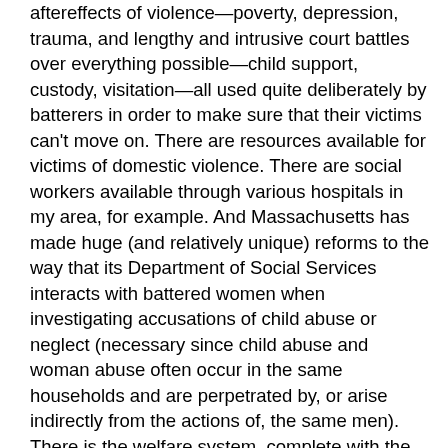aftereffects of violence—poverty, depression, trauma, and lengthy and intrusive court battles over everything possible—child support, custody, visitation—all used quite deliberately by batterers in order to make sure that their victims can't move on. There are resources available for victims of domestic violence. There are social workers available through various hospitals in my area, for example. And Massachusetts has made huge (and relatively unique) reforms to the way that its Department of Social Services interacts with battered women when investigating accusations of child abuse or neglect (necessary since child abuse and woman abuse often occur in the same households and are perpetrated by, or arise indirectly from the actions of, the same men). There is the welfare system, complete with the nightmarish restrictions that the Clinton administration gave poor people when signing off on Welfare Reform in 1996 (interesting fact: also in 1996, Congress restricted Legal Services funding—which has historically been the backbone of poverty law litigation—so that, among other things, organizations receiving that funding couldn't challenge the Welfare Reform rules). There are domestic violence shelters, which may begin to address the pressing